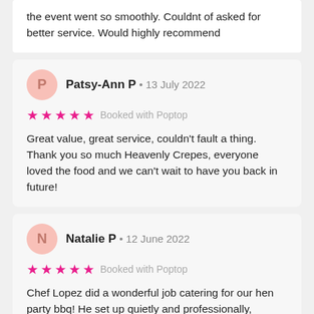the event went so smoothly. Couldnt of asked for better service. Would highly recommend
Patsy-Ann P · 13 July 2022
★★★★★ Booked with Poptop
Great value, great service, couldn't fault a thing. Thank you so much Heavenly Crepes, everyone loved the food and we can't wait to have you back in future!
Natalie P · 12 June 2022
★★★★★ Booked with Poptop
Chef Lopez did a wonderful job catering for our hen party bbq! He set up quietly and professionally, checked in on preparation and eating times and made ample, beautiful food for our event! Would hi...